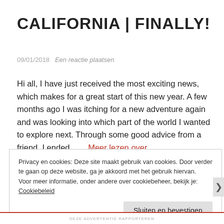CALIFORNIA | FINALLY!
09/01/2018   Een reactie plaatsen
Hi all, I have just received the most exciting news, which makes for a great start of this new year. A few months ago I was itching for a new adventure again and was looking into which part of the world I wanted to explore next. Through some good advice from a friend, I ended … Meer lezen over
Privacy en cookies: Deze site maakt gebruik van cookies. Door verder te gaan op deze website, ga je akkoord met het gebruik hiervan.
Voor meer informatie, onder andere over cookiebeheer, bekijk je: Cookiebeleid
Sluiten en bevestigen
DEZE ADVERTENTIE RAPPORTEREN